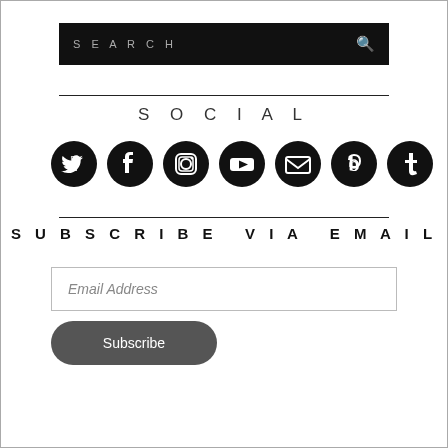[Figure (screenshot): Search bar: black background with 'SEARCH' text in uppercase gray letters and a search icon on the right]
SOCIAL
[Figure (infographic): Row of 7 social media icons (circular black icons): Twitter, Facebook, Instagram, YouTube, Email, Bloglovin, Tumblr]
SUBSCRIBE VIA EMAIL
[Figure (screenshot): Email Address input field with light border]
[Figure (screenshot): Dark gray rounded Subscribe button]